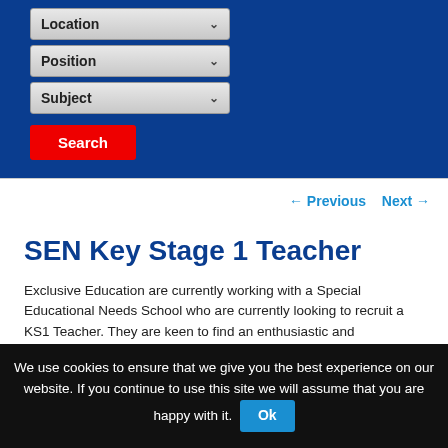[Figure (screenshot): Blue background section with dropdown filters: Location, Position, Subject, and a red Search button]
← Previous   Next →
SEN Key Stage 1 Teacher
Exclusive Education are currently working with a Special Educational Needs School who are currently looking to recruit a KS1 Teacher. They are keen to find an enthusiastic and experienced Nursery Teacher to join their friendly
We use cookies to ensure that we give you the best experience on our website. If you continue to use this site we will assume that you are happy with it. Ok